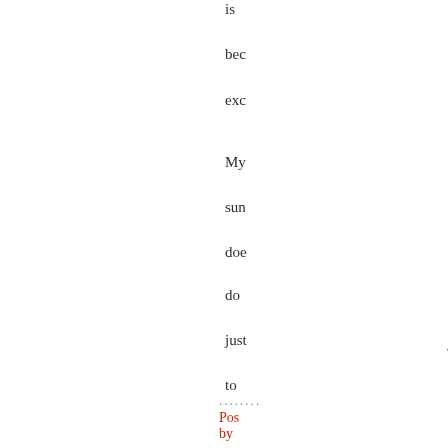is bec exc My sun doe do just to Pro Mo larg pro. so kee eye out for her pub wor
........ Pos by